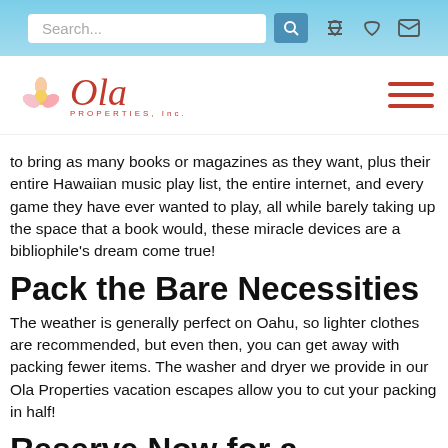[Figure (screenshot): Website navigation bar with search box, search icon, phone icon, heart icon, and email icon on a blue gradient background]
[Figure (logo): Ola Properties Inc. logo with flower graphic and red script/text, plus red hamburger menu icon on the right]
to bring as many books or magazines as they want, plus their entire Hawaiian music play list, the entire internet, and every game they have ever wanted to play, all while barely taking up the space that a book would, these miracle devices are a bibliophile's dream come true!
Pack the Bare Necessities
The weather is generally perfect on Oahu, so lighter clothes are recommended, but even then, you can get away with packing fewer items. The washer and dryer we provide in our Ola Properties vacation escapes allow you to cut your packing in half!
Reserve Now for a Fantastic Oahu Travel